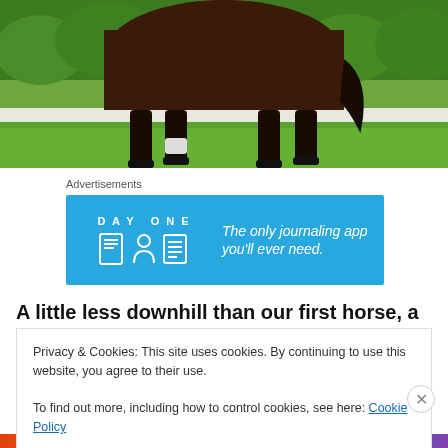[Figure (photo): A dark bay horse standing on green grass in front of a green hedge. Only the body and legs visible, cropped at the neck.]
Advertisements
[Figure (other): DAY ONE app advertisement banner on blue background. Shows journal, person, and document icons. Text: The only journaling app you'll ever need.]
A little less downhill than our first horse, a better neck set
Privacy & Cookies: This site uses cookies. By continuing to use this website, you agree to their use.
To find out more, including how to control cookies, see here: Cookie Policy
Close and accept